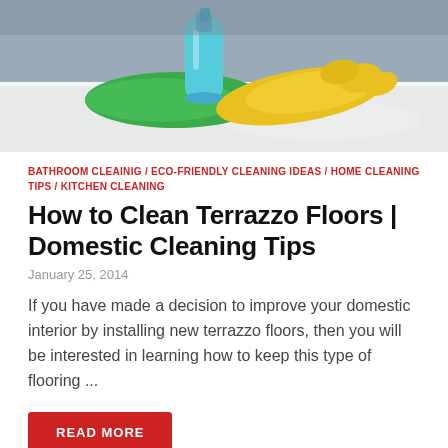[Figure (photo): Photo of cleaning supplies on a white surface: a blue spray bottle, yellow rubber gloves, and a green cleaning cloth, with a grey sofa visible in the background.]
BATHROOM CLEAINIG / ECO-FRIENDLY CLEANING IDEAS / HOME CLEANING TIPS / KITCHEN CLEANING
How to Clean Terrazzo Floors | Domestic Cleaning Tips
January 25, 2014
If you have made a decision to improve your domestic interior by installing new terrazzo floors, then you will be interested in learning how to keep this type of flooring ...
READ MORE